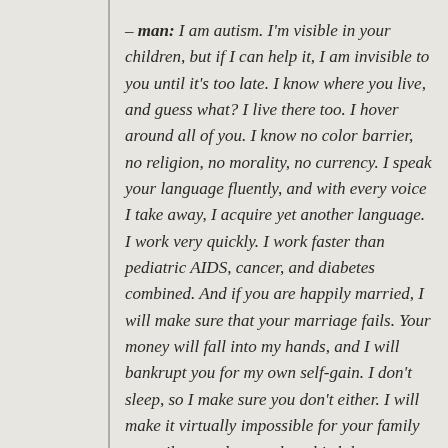– man: I am autism. I'm visible in your children, but if I can help it, I am invisible to you until it's too late. I know where you live, and guess what? I live there too. I hover around all of you. I know no color barrier, no religion, no morality, no currency. I speak your language fluently, and with every voice I take away, I acquire yet another language. I work very quickly. I work faster than pediatric AIDS, cancer, and diabetes combined. And if you are happily married, I will make sure that your marriage fails. Your money will fall into my hands, and I will bankrupt you for my own self-gain. I don't sleep, so I make sure you don't either. I will make it virtually impossible for your family to easily attend a temple, a birthday party, a public park, without